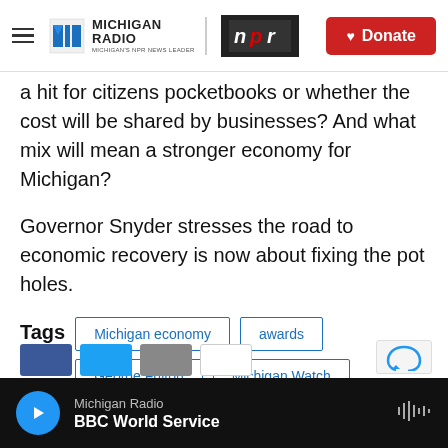Michigan Radio | NPR | Donate
a hit for citizens pocketbooks or whether the cost will be shared by businesses? And what mix will mean a stronger economy for Michigan?
Governor Snyder stresses the road to economic recovery is now about fixing the pot holes.
Tags  Michigan economy  awards  George Fulton  Michigan Watch  state of the state 2013
Michigan Radio  BBC World Service